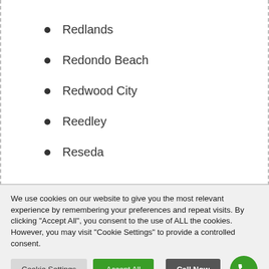Redlands
Redondo Beach
Redwood City
Reedley
Reseda
We use cookies on our website to give you the most relevant experience by remembering your preferences and repeat visits. By clicking “Accept All”, you consent to the use of ALL the cookies. However, you may visit “Cookie Settings” to provide a controlled consent.